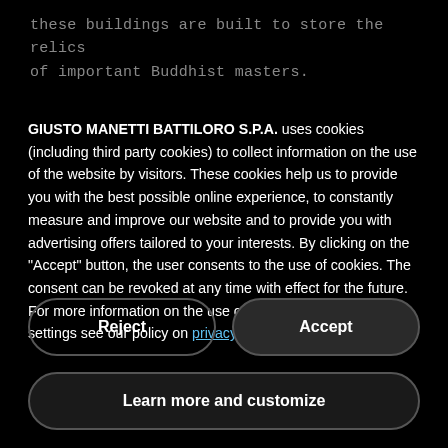these buildings are built to store the relics of important Buddhist masters.
GIUSTO MANETTI BATTILORO S.P.A. uses cookies (including third party cookies) to collect information on the use of the website by visitors. These cookies help us to provide you with the best possible online experience, to constantly measure and improve our website and to provide you with advertising offers tailored to your interests. By clicking on the "Accept" button, the user consents to the use of cookies. The consent can be revoked at any time with effect for the future. For more information on the use of cookies or to change your settings see our policy on privacy policy or our cookies policy.
Reject
Accept
Learn more and customize